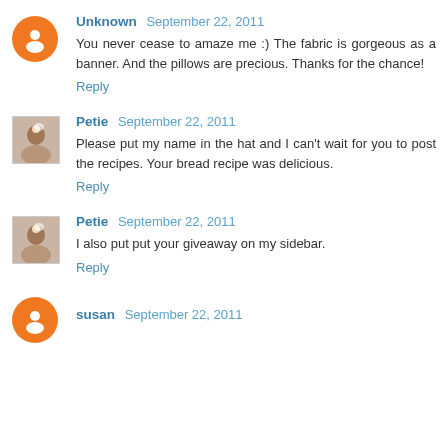Unknown September 22, 2011
You never cease to amaze me :) The fabric is gorgeous as a banner. And the pillows are precious. Thanks for the chance!
Reply
Petie September 22, 2011
Please put my name in the hat and I can't wait for you to post the recipes. Your bread recipe was delicious.
Reply
Petie September 22, 2011
I also put put your giveaway on my sidebar.
Reply
susan September 22, 2011